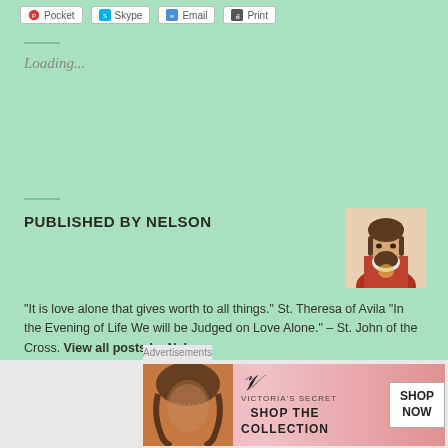[Figure (screenshot): Share buttons row: Pocket, Skype, Email, Print buttons with icons]
Loading...
PUBLISHED BY NELSON
[Figure (photo): Portrait of Jesus Christ with sacred heart, classic religious painting thumbnail]
"It is love alone that gives worth to all things." St. Theresa of Avila "In the Evening of Life We will be Judged on Love Alone." – St. John of the Cross. View all posts by Nelson
Posted on March 10, 2021 by Nelson
Posted in Bible Reflections
Advertisements
[Figure (infographic): Victoria's Secret advertisement banner: woman's face on left, VS logo and SHOP THE COLLECTION text in center, SHOP NOW white button on right, pink gradient background]